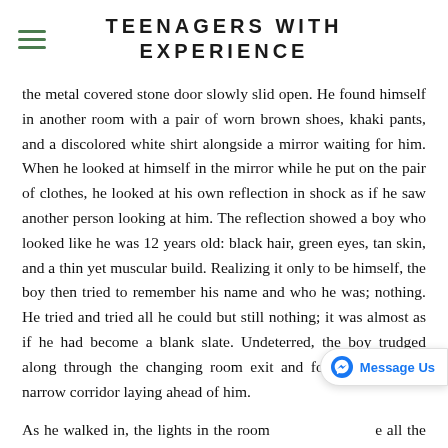TEENAGERS WITH EXPERIENCE
the metal covered stone door slowly slid open. He found himself in another room with a pair of worn brown shoes, khaki pants, and a discolored white shirt alongside a mirror waiting for him. When he looked at himself in the mirror while he put on the pair of clothes, he looked at his own reflection in shock as if he saw another person looking at him. The reflection showed a boy who looked like he was 12 years old: black hair, green eyes, tan skin, and a thin yet muscular build. Realizing it only to be himself, the boy then tried to remember his name and who he was; nothing. He tried and tried all he could but still nothing; it was almost as if he had become a blank slate. Undeterred, the boy trudged along through the changing room exit and found a dark and narrow corridor laying ahead of him.
As he walked in, the lights in the room all the way to another ancient yet technologically advanced touch ID door. The lights looked like a mixture